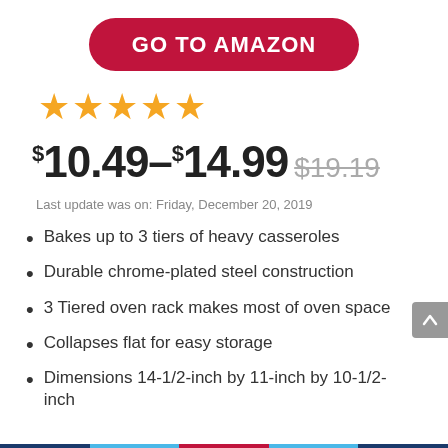GO TO AMAZON
[Figure (other): 5 gold stars rating]
$10.49–$14.99 $19.19
Last update was on: Friday, December 20, 2019
Bakes up to 3 tiers of heavy casseroles
Durable chrome-plated steel construction
3 Tiered oven rack makes most of oven space
Collapses flat for easy storage
Dimensions 14-1/2-inch by 11-inch by 10-1/2-inch